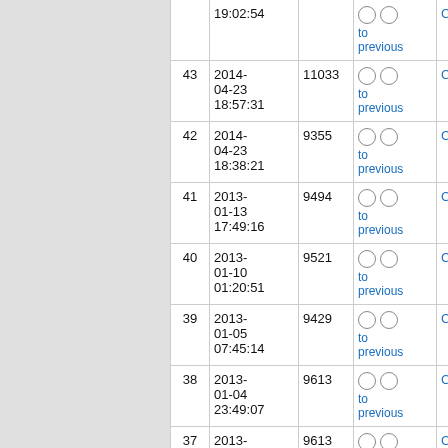| # | Date | Size | Diff | User |
| --- | --- | --- | --- | --- |
|  | 19:02:54 |  | to previous | ClintonE |
| 43 | 2014-04-23 18:57:31 | 11033 | to previous | ClintonE |
| 42 | 2014-04-23 18:38:21 | 9355 | to previous | ClintonE |
| 41 | 2013-01-13 17:49:16 | 9494 | to previous | ClintonE |
| 40 | 2013-01-10 01:20:51 | 9521 | to previous | ClintonE |
| 39 | 2013-01-05 07:45:14 | 9429 | to previous | ClintonE |
| 38 | 2013-01-04 23:49:07 | 9613 | to previous | ClintonE |
| 37 | 2013-01-04 23:46:17 | 9613 | to previous | ClintonE |